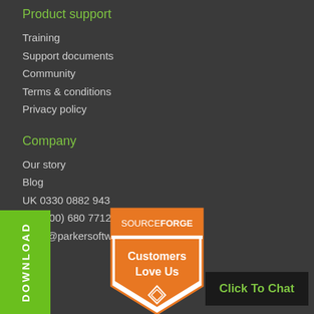Product support
Training
Support documents
Community
Terms & conditions
Privacy policy
Company
Our story
Blog
UK 0330 0882 943
US (800) 680 7712
sales@parkersoftware.com
[Figure (logo): Green DOWNLOAD button (vertical text)]
[Figure (logo): SourceForge Customers Love Us badge - orange shield shape]
[Figure (logo): Click To Chat button - dark background with green text]